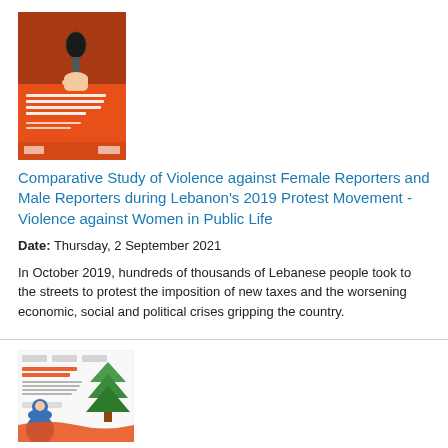[Figure (illustration): Book cover with orange background showing a hand holding a microphone, with text about violence against female reporters in Lebanon]
Comparative Study of Violence against Female Reporters and Male Reporters during Lebanon's 2019 Protest Movement - Violence against Women in Public Life
Date: Thursday, 2 September 2021
In October 2019, hundreds of thousands of Lebanese people took to the streets to protest the imposition of new taxes and the worsening economic, social and political crises gripping the country.
[Figure (illustration): Book cover with white background showing a woman with hijab and Lebanese cedar tree illustration]